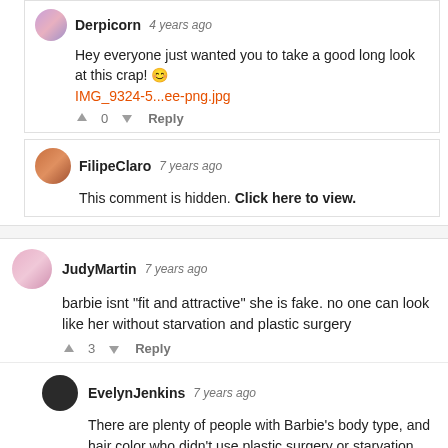Derpicorn 4 years ago — Hey everyone just wanted you to take a good long look at this crap! 😊 IMG_9324-5...ee-png.jpg — 0 Reply
FilipeClaro 7 years ago — This comment is hidden. Click here to view.
JudyMartin 7 years ago — barbie isnt "fit and attractive" she is fake. no one can look like her without starvation and plastic surgery — 3 Reply
EvelynJenkins 7 years ago — There are plenty of people with Barbie's body type, and hair color who didn't use plastic surgery or starvation. Stop being so general — -3 Reply
ChrissySeaman 7 years ago — http://www.dailymail.co.uk/news/article-2308658/How-